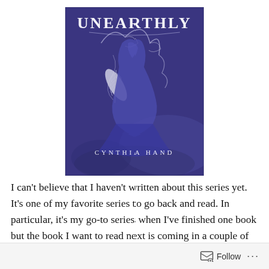[Figure (illustration): Book cover of 'Unearthly' by Cynthia Hand. Purple/blue toned illustration featuring a woman in a flowing dress with swirling decorative elements and a feather. Title 'UNEARTHLY' in large white serif letters at the top, author name 'CYNTHIA HAND' in spaced white capitals near the bottom.]
I can't believe that I haven't written about this series yet. It's one of my favorite series to go back and read. In particular, it's my go-to series when I've finished one book but the book I want to read next is coming in a couple of days.  (Like for instance, I've finished My Lady Jane but A Court of Wings and Ruin, The Dark Prophecy and Always